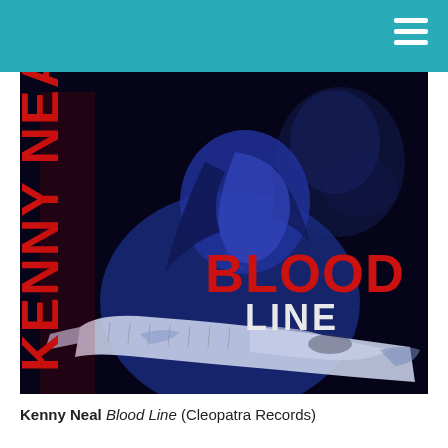[Figure (photo): Album cover for Kenny Neal's 'Blood Line' on Cleopatra Records. A man with long dark hair plays an electric guitar against a dark background. The name 'KENNY NEA' appears in large red vertical text on the left side. 'BLOOD' is written in large red bold text and 'LINE' below it in smaller white/light text on the right side of the image. The photo has a blue-tinted duotone effect.]
Kenny Neal Blood Line (Cleopatra Records)